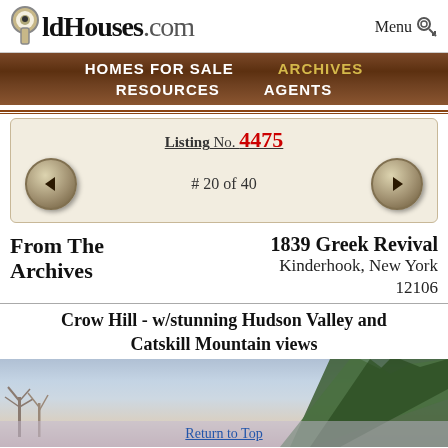OldHouses.com — Menu
[Figure (screenshot): Navigation bar with wood texture background showing: HOMES FOR SALE, ARCHIVES (gold), RESOURCES, AGENTS]
Listing No. 4475
# 20 of 40
From The Archives
1839 Greek Revival
Kinderhook, New York
12106
Crow Hill - w/stunning Hudson Valley and Catskill Mountain views
[Figure (photo): Outdoor property photo showing sky, trees, and landscape]
Return to Top